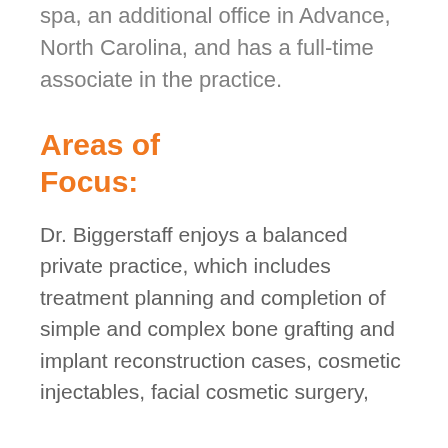spa, an additional office in Advance, North Carolina, and has a full-time associate in the practice.
Areas of Focus:
Dr. Biggerstaff enjoys a balanced private practice, which includes treatment planning and completion of simple and complex bone grafting and implant reconstruction cases, cosmetic injectables, facial cosmetic surgery,